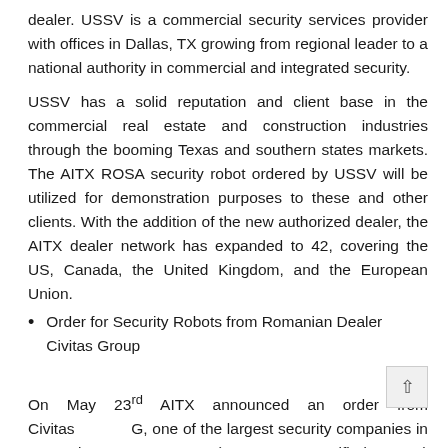dealer. USSV is a commercial security services provider with offices in Dallas, TX growing from regional leader to a national authority in commercial and integrated security.
USSV has a solid reputation and client base in the commercial real estate and construction industries through the booming Texas and southern states markets. The AITX ROSA security robot ordered by USSV will be utilized for demonstration purposes to these and other clients. With the addition of the new authorized dealer, the AITX dealer network has expanded to 42, covering the US, Canada, the United Kingdom, and the European Union.
Order for Security Robots from Romanian Dealer Civitas Group
On May 23rd AITX announced an order from Civitas Group, one of the largest security companies in Romania, and an AVA (Autonomous Verified Access) access control device,